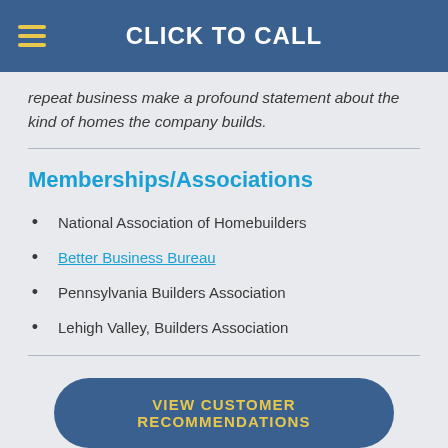CLICK TO CALL
repeat business make a profound statement about the kind of homes the company builds.
Memberships/Associations
National Association of Homebuilders
Better Business Bureau
Pennsylvania Builders Association
Lehigh Valley, Builders Association
VIEW CUSTOMER RECOMMENDATIONS